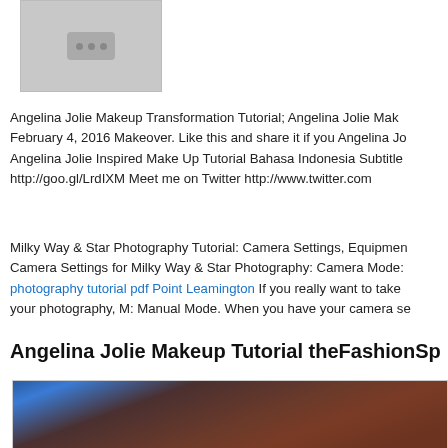[Figure (screenshot): Gray thumbnail placeholder with a dark rounded rectangle showing three dots in the center]
Angelina Jolie Makeup Transformation Tutorial; Angelina Jolie Mak February 4, 2016 Makeover. Like this and share it if you Angelina Jo Angelina Jolie Inspired Make Up Tutorial Bahasa Indonesia Subtitle http://goo.gl/LrdIXM Meet me on Twitter http://www.twitter.com
Milky Way & Star Photography Tutorial: Camera Settings, Equipmen Camera Settings for Milky Way & Star Photography: Camera Mode: photography tutorial pdf Point Leamington If you really want to take your photography, M: Manual Mode. When you have your camera se
Angelina Jolie Makeup Tutorial theFashionSp
[Figure (photo): Close-up photo of a person with brown hair, blue light in the background, appears to be a makeup tutorial thumbnail]